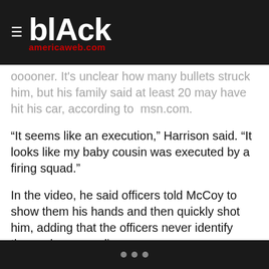blAck americaweb.com
ooooner. It's unclear how many bullets struck him, but his family said at least 20 may have hit his car, according to  msn.com.
“It seems like an execution,” Harrison said. “It looks like my baby cousin was executed by a firing squad.”
In the video, he said officers told McCoy to show them his hands and then quickly shot him, adding that the officers never identify themselves as police.
“It was like almost instantaneous,” Harrison added. “I can’t tell you how many seconds, but if I was to estimate, from what I’ve seen, maybe from a couple of seconds.”
• • •